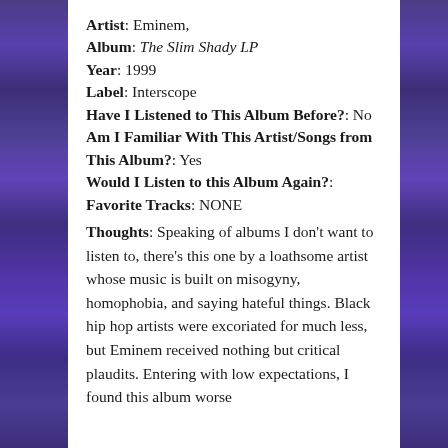Artist: Eminem,
Album: The Slim Shady LP
Year: 1999
Label: Interscope
Have I Listened to This Album Before?: No
Am I Familiar With This Artist/Songs from This Album?: Yes
Would I Listen to this Album Again?:
Favorite Tracks: NONE
Thoughts: Speaking of albums I don’t want to listen to, there’s this one by a loathsome artist whose music is built on misogyny, homophobia, and saying hateful things. Black hip hop artists were excoriated for much less, but Eminem received nothing but critical plaudits. Entering with low expectations, I found this album worse